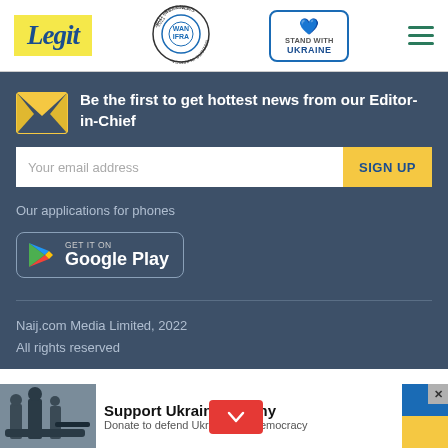Legit | WAN IFRA 2021 Best News Website in Africa | Stand with Ukraine
Be the first to get hottest news from our Editor-in-Chief
Your email address | SIGN UP
Our applications for phones
[Figure (logo): Get it on Google Play badge]
Naij.com Media Limited, 2022
All rights reserved
[Figure (infographic): Support Ukrainian Army advertisement banner - Donate to defend Ukraine and democracy]